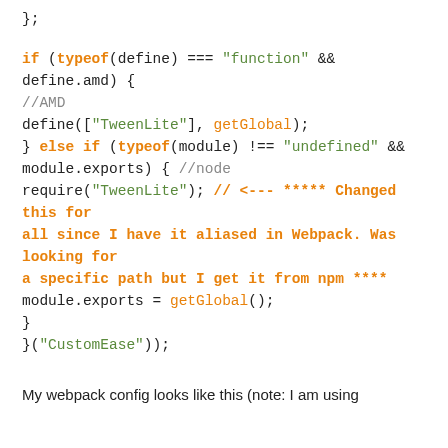};
if (typeof(define) === "function" && define.amd) {
//AMD
define(["TweenLite"], getGlobal);
} else if (typeof(module) !== "undefined" &&
module.exports) { //node
require("TweenLite"); // <--- ***** Changed this for all since I have it aliased in Webpack. Was looking for a specific path but I get it from npm ****
module.exports = getGlobal();
}
}("CustomEase"));
My webpack config looks like this (note: I am using